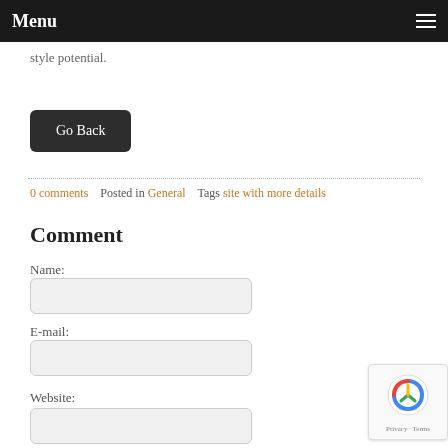Menu
style potential.
Go Back
0 comments   Posted in General   Tags site with more details
Comment
Name:
E-mail:
Website: